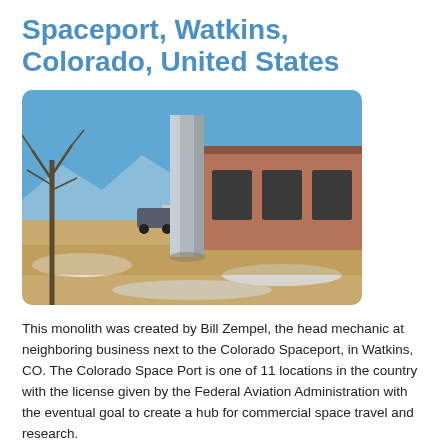Spaceport, Watkins, Colorado, United States
[Figure (photo): Outdoor photo showing a tall metallic monolith standing upright in a field with dry grass and patches of snow. Behind it is a brick industrial building with dark garage doors. Bare trees are visible on the left and mountains appear in the background under a clear blue sky.]
This monolith was created by Bill Zempel, the head mechanic at neighboring business next to the Colorado Spaceport, in Watkins, CO. The Colorado Space Port is one of 11 locations in the country with the license given by the Federal Aviation Administration with the eventual goal to create a hub for commercial space travel and research.
Classification:  K-Class